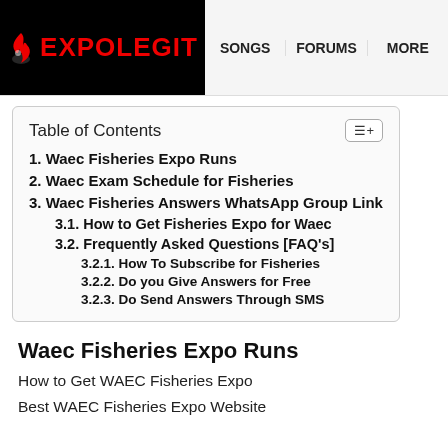EXPOLEGIT | SONGS | FORUMS | MORE
Table of Contents
1. Waec Fisheries Expo Runs
2. Waec Exam Schedule for Fisheries
3. Waec Fisheries Answers WhatsApp Group Link
3.1. How to Get Fisheries Expo for Waec
3.2. Frequently Asked Questions [FAQ's]
3.2.1. How To Subscribe for Fisheries
3.2.2. Do you Give Answers for Free
3.2.3. Do Send Answers Through SMS
Waec Fisheries Expo Runs
How to Get WAEC Fisheries Expo
Best WAEC Fisheries Expo Website